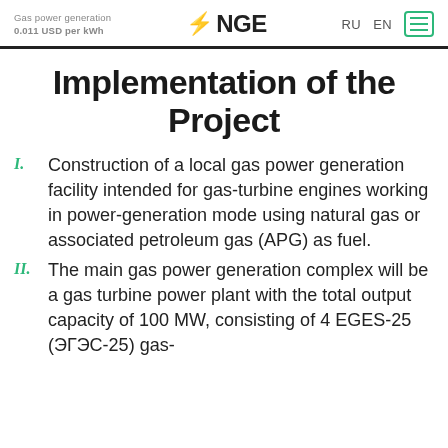Gas power generation 0.011 USD per kWh | NGE | RU EN
Implementation of the Project
Construction of a local gas power generation facility intended for gas-turbine engines working in power-generation mode using natural gas or associated petroleum gas (APG) as fuel.
The main gas power generation complex will be a gas turbine power plant with the total output capacity of 100 MW, consisting of 4 EGES-25 (ЭГЭС-25) gas-